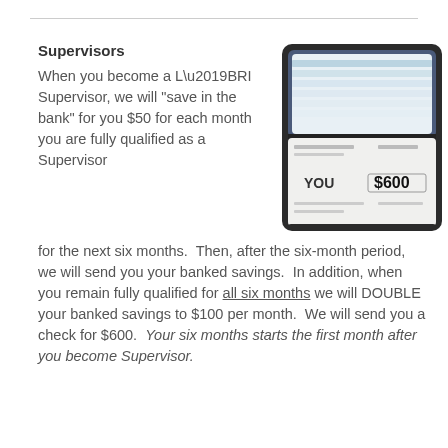Supervisors
[Figure (illustration): Illustration of a checkbook/check registry with a check showing 'YOU $600']
When you become a L’BRI Supervisor, we will “save in the bank” for you $50 for each month you are fully qualified as a Supervisor for the next six months.  Then, after the six-month period, we will send you your banked savings.  In addition, when you remain fully qualified for all six months we will DOUBLE your banked savings to $100 per month.  We will send you a check for $600.  Your six months starts the first month after you become Supervisor.